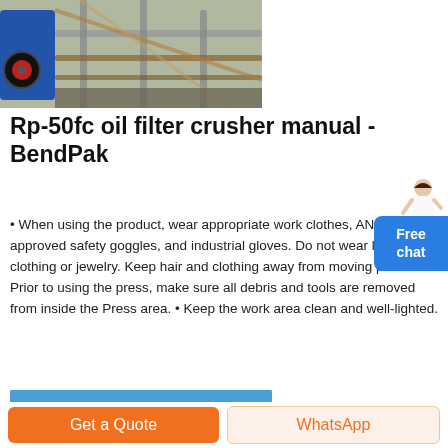[Figure (photo): Industrial machinery, appears to be a crusher or press machine with metallic parts, blue machinery components, and scaffolding in background.]
Rp-50fc oil filter crusher manual - BendPak
• When using the product, wear appropriate work clothes, ANSI-approved safety goggles, and industrial gloves. Do not wear loose clothing or jewelry. Keep hair and clothing away from moving parts. • Prior to using the press, make sure all debris and tools are removed from inside the Press area. • Keep the work area clean and well-lighted.
[Figure (photo): Partial photo showing blue sky and a small figure at lower left corner.]
Get a Quote
WhatsApp